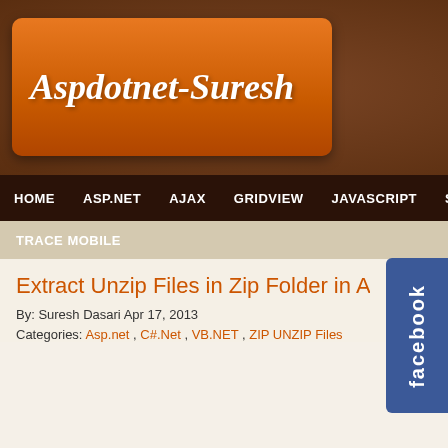[Figure (screenshot): Website header with brown background]
Aspdotnet-Suresh
HOME  ASP.NET  AJAX  GRIDVIEW  JAVASCRIPT  SQL
TRACE MOBILE
Extract Unzip Files in Zip Folder in Asp.n
By: Suresh Dasari Apr 17, 2013
Categories: Asp.net , C#.Net , VB.NET , ZIP UNZIP Files